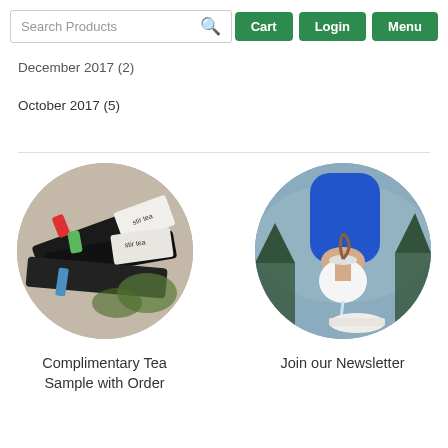Search Products | Cart | Login | Menu
December 2017 (2)
October 2017 (5)
[Figure (photo): Circular photo of stir tea branded tea packets and loose leaf tea on a flat surface]
Complimentary Tea Sample with Order
[Figure (photo): Circular photo of a person in a blue sleeve pouring hot water from a small white teapot into a bowl, with a lake and trees in the background]
Join our Newsletter